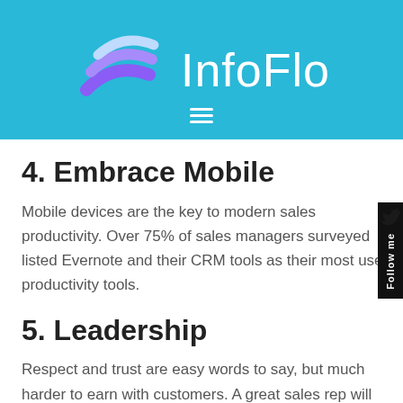InfoFlo
4. Embrace Mobile
Mobile devices are the key to modern sales productivity. Over 75% of sales managers surveyed listed Evernote and their CRM tools as their most used productivity tools.
5. Leadership
Respect and trust are easy words to say, but much harder to earn with customers. A great sales rep will practice what they preach- they inspire those who matter to them and to whom they matter to through example.
6. Take Initiative